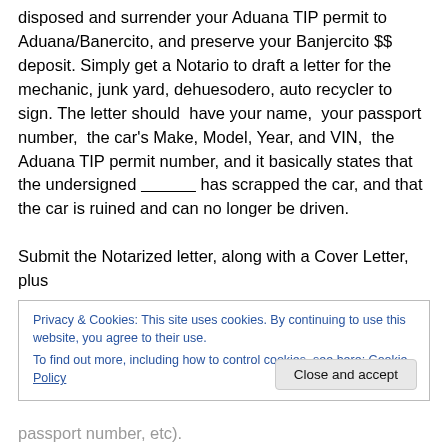disposed and surrender your Aduana TIP permit to Aduana/Banercito, and preserve your Banjercito $$ deposit. Simply get a Notario to draft a letter for the mechanic, junk yard, dehuesodero, auto recycler to sign. The letter should have your name, your passport number, the car's Make, Model, Year, and VIN, the Aduana TIP permit number, and it basically states that the undersigned ___________ has scrapped the car, and that the car is ruined and can no longer be driven.
Submit the Notarized letter, along with a Cover Letter, plus
Privacy & Cookies: This site uses cookies. By continuing to use this website, you agree to their use.
To find out more, including how to control cookies, see here: Cookie Policy
Close and accept
passport number, etc).